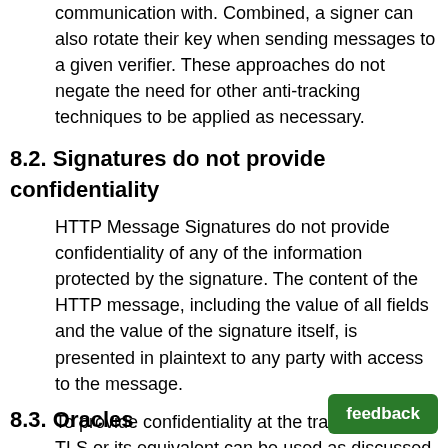communication with. Combined, a signer can also rotate their key when sending messages to a given verifier. These approaches do not negate the need for other anti-tracking techniques to be applied as necessary.
8.2. Signatures do not provide confidentiality
HTTP Message Signatures do not provide confidentiality of any of the information protected by the signature. The content of the HTTP message, including the value of all fields and the value of the signature itself, is presented in plaintext to any party with access to the message.
To provide confidentiality at the transport level, TLS or its equivalent can be used as discussed in Section 7.2.
8.3. Oracles